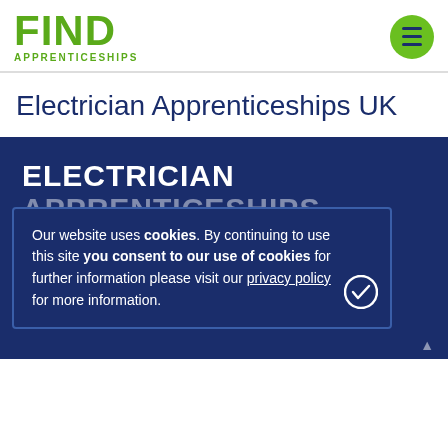[Figure (logo): Find Apprenticeships logo in green, with hamburger menu button]
Electrician Apprenticeships UK
[Figure (infographic): Blue banner section with ELECTRICIAN APPRENTICESHIPS text and subtitle about electrician apprenticeships]
Our website uses cookies. By continuing to use this site you consent to our use of cookies for further information please visit our privacy policy for more information.